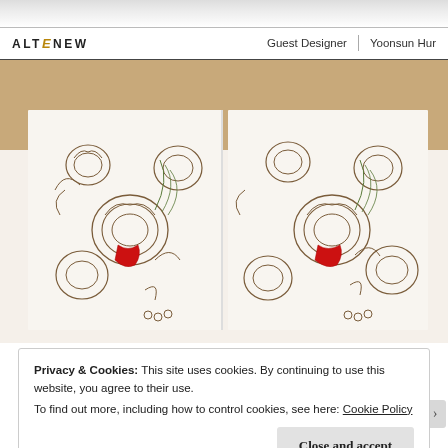ALTENEW   Guest Designer | Yoonsun Hur
[Figure (photo): Two side-by-side photos of floral stamp artwork on white card stock showing roses and foliage stamped in dark brown ink with a small red accent, placed on a wooden surface background.]
Privacy & Cookies: This site uses cookies. By continuing to use this website, you agree to their use.
To find out more, including how to control cookies, see here: Cookie Policy
Close and accept